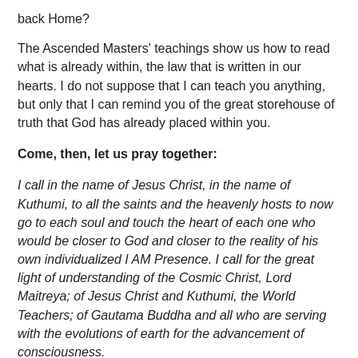back Home?
The Ascended Masters' teachings show us how to read what is already within, the law that is written in our hearts. I do not suppose that I can teach you anything, but only that I can remind you of the great storehouse of truth that God has already placed within you.
Come, then, let us pray together:
I call in the name of Jesus Christ, in the name of Kuthumi, to all the saints and the heavenly hosts to now go to each soul and touch the heart of each one who would be closer to God and closer to the reality of his own individualized I AM Presence. I call for the great light of understanding of the Cosmic Christ, Lord Maitreya; of Jesus Christ and Kuthumi, the World Teachers; of Gautama Buddha and all who are serving with the evolutions of earth for the advancement of consciousness.
Beloved heavenly Father, we know that whatsoever we ask in